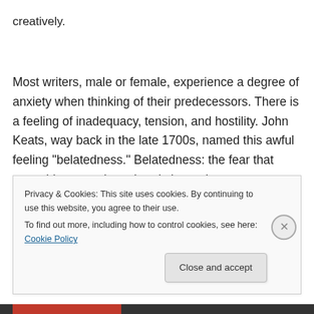creatively.
Most writers, male or female, experience a degree of anxiety when thinking of their predecessors. There is a feeling of inadequacy, tension, and hostility. John Keats, way back in the late 1700s, named this awful feeling “belatedness.” Belatedness: the fear that everything great has already been done.
Privacy & Cookies: This site uses cookies. By continuing to use this website, you agree to their use.
To find out more, including how to control cookies, see here: Cookie Policy
Close and accept